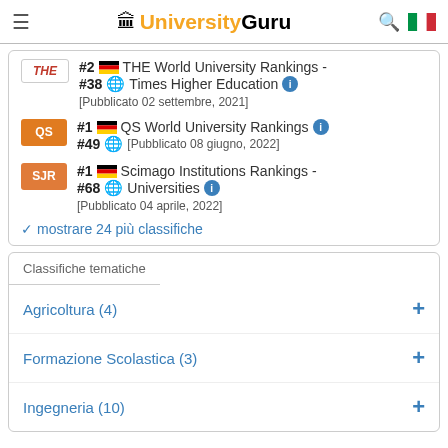UniversityGuru
#2 [DE flag] THE World University Rankings - #38 [globe] Times Higher Education [i] [Pubblicato 02 settembre, 2021]
#1 [DE flag] QS World University Rankings [i] #49 [globe] [Pubblicato 08 giugno, 2022]
#1 [DE flag] Scimago Institutions Rankings - #68 [globe] Universities [i] [Pubblicato 04 aprile, 2022]
mostrare 24 più classifiche
Classifiche tematiche
Agricoltura (4)
Formazione Scolastica (3)
Ingegneria (10)